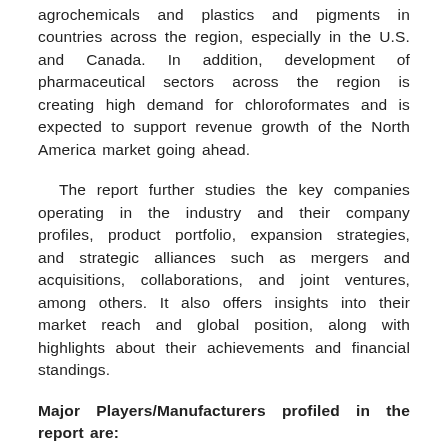agrochemicals and plastics and pigments in countries across the region, especially in the U.S. and Canada. In addition, development of pharmaceutical sectors across the region is creating high demand for chloroformates and is expected to support revenue growth of the North America market going ahead.
The report further studies the key companies operating in the industry and their company profiles, product portfolio, expansion strategies, and strategic alliances such as mergers and acquisitions, collaborations, and joint ventures, among others. It also offers insights into their market reach and global position, along with highlights about their achievements and financial standings.
Major Players/Manufacturers profiled in the report are:
BASF SE., Solvay S.A, Tokyo Chemical Industry Co., Ltd., Van De Mark Chemical Inc., Meryer Co., Ltd., Ava Chemicals Pvt.